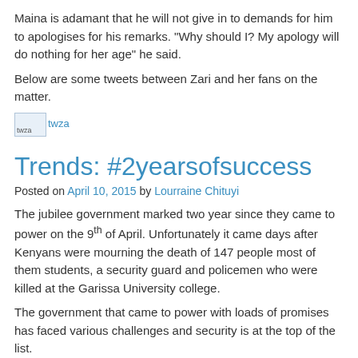Maina is adamant that he will not give in to demands for him to apologises for his remarks. “Why should I?  My apology will do nothing for her age” he said.
Below are some tweets between Zari and her fans on the matter.
[Figure (other): Broken image placeholder labeled 'twza']
Trends: #2yearsofsuccess
Posted on April 10, 2015 by Lourraine Chituyi
The jubilee government marked two year since they came to power on the 9th of April. Unfortunately it came days after Kenyans were mourning the death of 147 people most of them students, a security guard and policemen who were killed at the Garissa University college.
The government that came to power with loads of promises has faced various challenges and security is at the top of the list.
With the 2year celebration came the government sponsored hashtag #2yearsofsucess to inform on the progress of the things they had done since coming to power.
However this did not go down well with the Kenyan online fraternity...